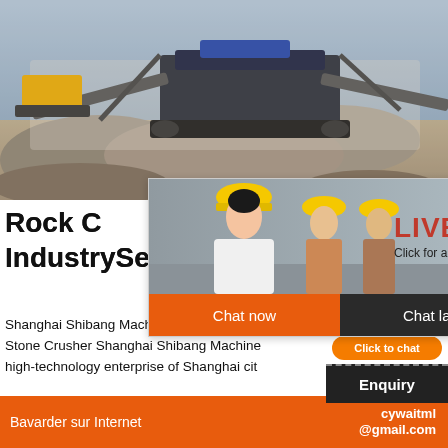[Figure (photo): Outdoor mining/crushing machinery site with large rock crushers, conveyor belts, and piles of gravel/aggregate. Blue sky visible. Yellow bulldozer in background.]
[Figure (screenshot): Live Chat popup overlay showing workers in hard hats, 'LIVE CHAT' in red text, 'Click for a Free Consultation', and two buttons: 'Chat now' (orange) and 'Chat later' (dark).]
[Figure (photo): Female customer service operator wearing headset, with 'hour online' orange badge above, 'Click to chat' orange button, and 'Enquiry' section below.]
Rock Crushers - IndustrySearch
Shanghai Shibang Machinery Sand Making Stone Crusher Shanghai Shibang Machinery high-technology enterprise of Shanghai cit
Bavarder sur Internet    cywaitml @gmail.com